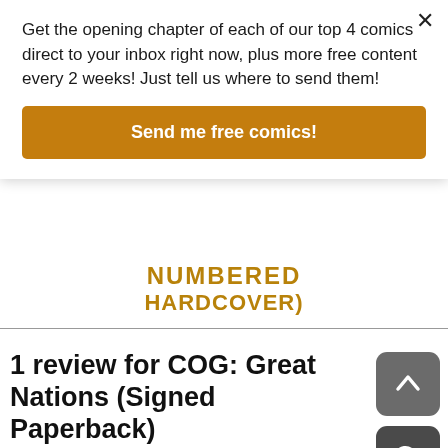Get the opening chapter of each of our top 4 comics direct to your inbox right now, plus more free content every 2 weeks! Just tell us where to send them!
Send me free comics!
NUMBERED HARDCOVER)
1 review for COG: Great Nations (Signed Paperback)
Search customer reviews